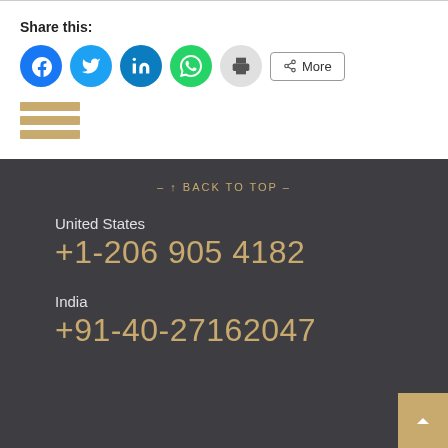Share this:
[Figure (infographic): Row of social sharing icon buttons: Facebook (blue circle), Twitter (light blue circle), LinkedIn (teal circle), WhatsApp (green circle), Print (grey circle), and a 'More' button with share icon]
[Figure (infographic): Hamburger menu icon composed of three horizontal golden/tan bars]
– ↑ BACK TO TOP –
United States
+1-206 905 4182
India
+91-40-27162047